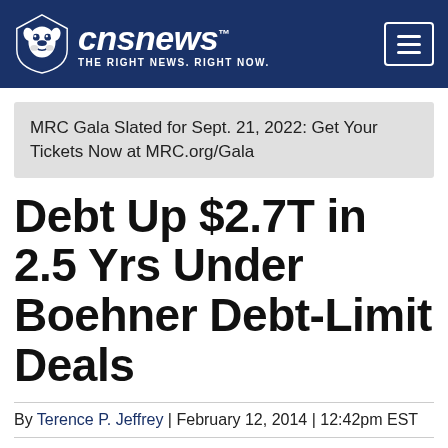cnsnews — THE RIGHT NEWS. RIGHT NOW.
MRC Gala Slated for Sept. 21, 2022: Get Your Tickets Now at MRC.org/Gala
Debt Up $2.7T in 2.5 Yrs Under Boehner Debt-Limit Deals
By Terence P. Jeffrey | February 12, 2014 | 12:42pm EST